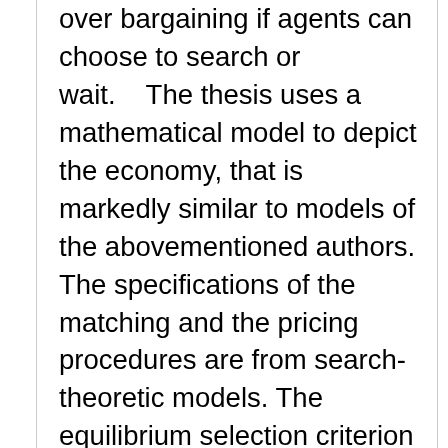over bargaining if agents can choose to search or wait.    The thesis uses a mathematical model to depict the economy, that is markedly similar to models of the abovementioned authors. The specifications of the matching and the pricing procedures are from search-theoretic models. The equilibrium selection criterion is the evolutionary stability of an equilibrium, which comes from evolutionary game theory. Replicator dynamics are applied to depict dynamic adjustment processes and to determine evolutionary stable equilibria in the comparisons.